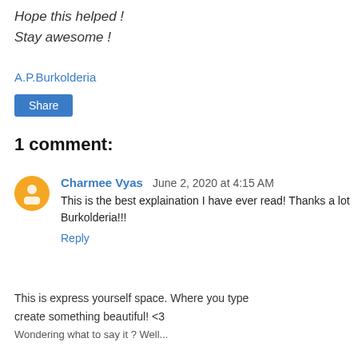Hope this helped !
Stay awesome !
A.P.Burkolderia
Share
1 comment:
Charmee Vyas  June 2, 2020 at 4:15 AM
This is the best explaination I have ever read! Thanks a lot Burkolderia!!!
Reply
This is express yourself space. Where you type create something beautiful! <3
We are inspiring last to it ? Wall...